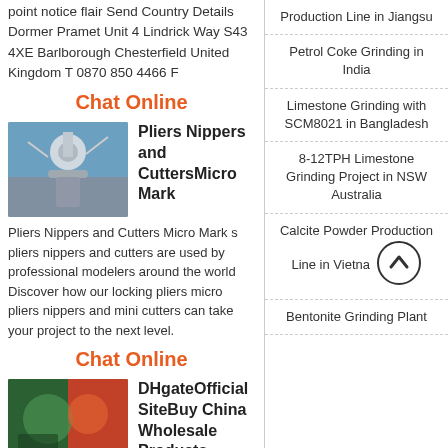point notice flair Send Country Details Dormer Pramet Unit 4 Lindrick Way S43 4XE Barlborough Chesterfield United Kingdom T 0870 850 4466 F
Chat Online
[Figure (photo): Photo of industrial equipment or machinery against a blue sky background]
Pliers Nippers and CuttersMicro Mark
Pliers Nippers and Cutters Micro Mark s pliers nippers and cutters are used by professional modelers around the world Discover how our locking pliers micro pliers nippers and mini cutters can take your project to the next level.
Chat Online
[Figure (photo): Colorful industrial image with blue, green and orange tones]
DHgateOfficial SiteBuy China Wholesale Products
Production Line in Jiangsu
Petrol Coke Grinding in India
Limestone Grinding with SCM8021 in Bangladesh
8-12TPH Limestone Grinding Project in NSW Australia
Calcite Powder Production Line in Vietnam
Bentonite Grinding Plant